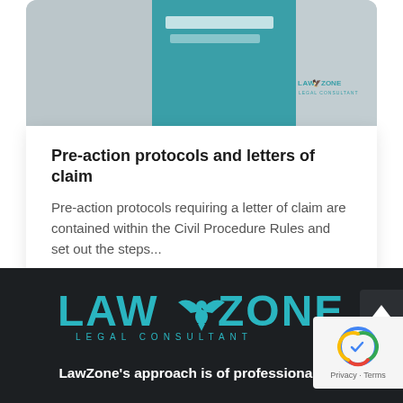[Figure (screenshot): Cropped thumbnail image showing a teal/turquoise panel with partial text and LAW ZONE LEGAL CONSULTANT watermark logo in the top-right corner, on a grey-blue background.]
Pre-action protocols and letters of claim
Pre-action protocols requiring a letter of claim are contained within the Civil Procedure Rules and set out the steps...
[Figure (logo): LAW ZONE LEGAL CONSULTANT logo in teal/turquoise color with a stylized eagle/bird emblem, on a dark background.]
LawZone's approach is of professionalism,